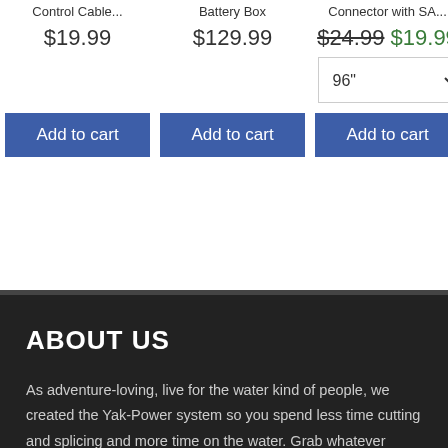Control Cable...
$19.99
Battery Box
$129.99
Connector with SA...
$24.99 $19.99
Wire &...
$26...
96"
144"
Add to cart
Add to cart
Add to cart
Add to...
ABOUT US
As adventure-loving, live for the water kind of people, we created the Yak-Power system so you spend less time cutting and splicing and more time on the water. Grab whatever electronics you want and easily connect them to our plug-and-play system. It's time to control the current!